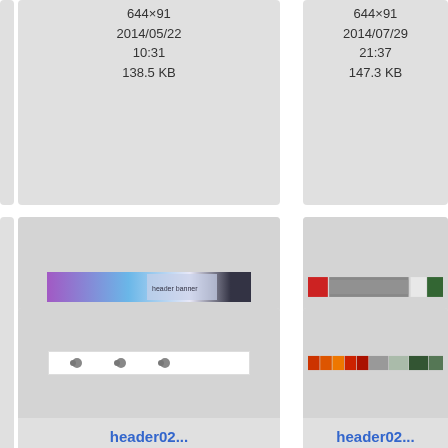[Figure (screenshot): File browser grid showing image thumbnails named header02... with metadata: dimensions 644x91, dates and file sizes]
644×91
2014/05/22
10:31
138.5 KB
644×91
2014/07/29
21:37
147.3 KB
[Figure (screenshot): Thumbnail of header02 image - colorful banner]
header02...
644×91
2014/08/16
22:36
78.8 KB
[Figure (screenshot): Thumbnail of header02 image - red and photo banner]
header02...
644×91
2014/08/29
22:09
132 KB
[Figure (screenshot): Thumbnail of header02 image - small icons on white]
header02...
644×91
[Figure (screenshot): Thumbnail of header02 image - colorful striped banner]
header02...
644×91